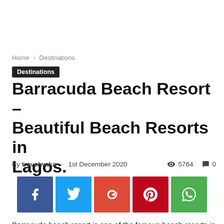Home › Destinations
Destinations
Barracuda Beach Resort – Beautiful Beach Resorts in Lagos.
By travelwaka - 1st December 2020   👁 5764   💬 0
[Figure (other): Social sharing buttons: Facebook, Twitter, Google+, Pinterest, WhatsApp]
Barracuda beach resort is one of the famous beach resorts in Lagos. It is a budget-friendly resort located off the Lekki Epe